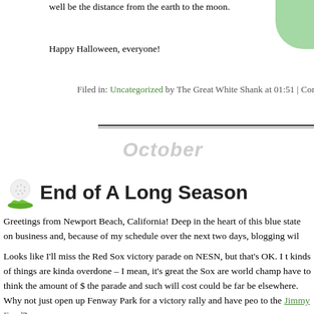well be the distance from the earth to the moon.
Happy Halloween, everyone!
Filed in: Uncategorized by The Great White Shank at 01:51 | Comments Of
October
End of A Long Season
Greetings from Newport Beach, California! Deep in the heart of this blue state on business and, because of my schedule over the next two days, blogging wil
Looks like I'll miss the Red Sox victory parade on NESN, but that's OK. I t kinds of things are kinda overdone – I mean, it's great the Sox are world champ have to think the amount of $ the parade and such will cost could be far be elsewhere. Why not just open up Fenway Park for a victory rally and have peo to the Jimmy Fund?
The Sox going this deep into the fall means a shorter off-season. I'll miss Tina but I sure won't miss those probing questions asked during "Terry's Take".
If I'm the Sox, I keep Curt Schilling for one last go-round. Just having him aro having another pitching coach, and with current pitching coach John Far consideration for the Pirates managerial gig, it might not be bad to have th around to teach kids like Bucholz and Lester a thing or two.
And I definitely keep Mike Lowell. Offer him two years with a club option f